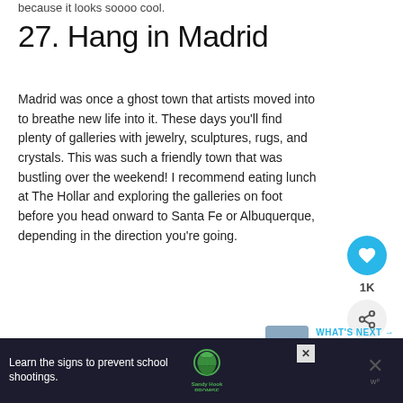because it looks soooo cool.
27. Hang in Madrid
Madrid was once a ghost town that artists moved into to breathe new life into it. These days you'll find plenty of galleries with jewelry, sculptures, rugs, and crystals. This was such a friendly town that was bustling over the weekend! I recommend eating lunch at The Hollar and exploring the galleries on foot before you head onward to Santa Fe or Albuquerque, depending in the direction you're going.
[Figure (infographic): Social sidebar with heart/like button showing 1K likes and a share button]
[Figure (infographic): What's Next promo box with thumbnail image and text 'The Perfect New Mexico...']
[Figure (infographic): Advertisement bar at bottom: 'Learn the signs to prevent school shootings.' with Sandy Hook Promise logo]